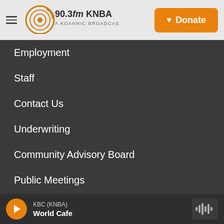90.3fm KNBA — A Koahnic Broadcast Station | Donate
Employment
Staff
Contact Us
Underwriting
Community Advisory Board
Public Meetings
Public Documents
Koahnic Broadcast Corporation
KBC (KNBA) — World Cafe